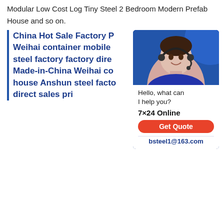Modular Low Cost Log Tiny Steel 2 Bedroom Modern Prefab House and so on.
China Hot Sale Factory P... Weihai container mobile ... steel factory factory dire... Made-in-China Weihai co... house Anshun steel facto... direct sales pri
[Figure (photo): Customer service representative wearing a headset, smiling, with blue background. Chat widget showing: Hello, what can I help you? 7×24 Online, Get Quote button, bsteel1@163.com]
Prefab House, Mobile House, Prefabrica... manufacturer / supplier in China, offering... for Sale House Modern Prefabricated E... House, China Suppliers Mobile Pop-up Coffee Shop Container Design 20FT Prefabricated Shipping Container Coffee Shop, 20FT Shipping Container Coffee Shop Container/Container Ice Cream Shop and so on.China Hot Sale Factory Price for Sale House Modern Weihai container mobile house Anshun steel factory...